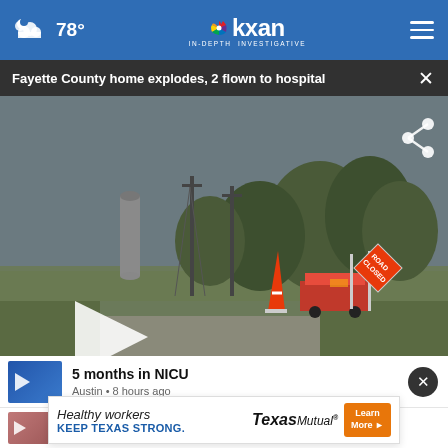☁ 78° | KXAN IN-DEPTH INVESTIGATIVE
Fayette County home explodes, 2 flown to hospital
[Figure (screenshot): Video thumbnail showing a road scene with a traffic cone, Road Closed sign, utility poles, trees, and fire truck in the background. A white play button triangle is visible on the left. A share icon is in the top right.]
5 months in NICU
Austin • 8 hours ago
[Figure (screenshot): Advertisement banner: Healthy workers KEEP TEXAS STRONG. Texas Mutual logo. Learn More button.]
Austin • 8 hours ago